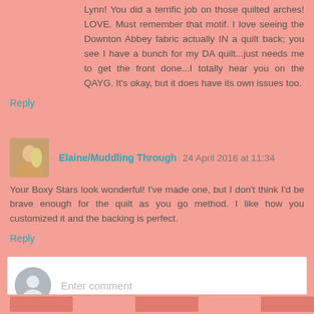Lynn! You did a terrific job on those quilted arches! LOVE. Must remember that motif. I love seeing the Downton Abbey fabric actually IN a quilt back; you see I have a bunch for my DA quilt...just needs me to get the front done...I totally hear you on the QAYG. It's okay, but it does have its own issues too.
Reply
Elaine/Muddling Through 24 April 2016 at 11:34
Your Boxy Stars look wonderful! I've made one, but I don't think I'd be brave enough for the quilt as you go method. I like how you customized it and the backing is perfect.
Reply